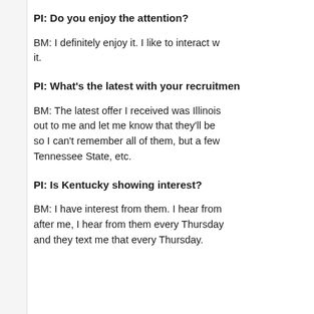PI: Do you enjoy the attention?
BM: I definitely enjoy it. I like to interact with it.
PI: What's the latest with your recruitment?
BM: The latest offer I received was Illinois... out to me and let me know that they'll be... so I can't remember all of them, but a few... Tennessee State, etc.
PI: Is Kentucky showing interest?
BM: I have interest from them. I hear from... after me, I hear from them every Thursday... and they text me that every Thursday.